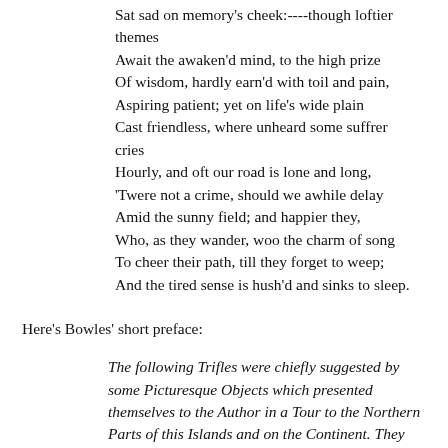Sat sad on memory's cheek:----though loftier themes
Await the awaken'd mind, to the high prize
Of wisdom, hardly earn'd with toil and pain,
Aspiring patient; yet on life's wide plain
Cast friendless, where unheard some suffrer cries
Hourly, and oft our road is lone and long,
'Twere not a crime, should we awhile delay
Amid the sunny field; and happier they,
Who, as they wander, woo the charm of song
To cheer their path, till they forget to weep;
And the tired sense is hush'd and sinks to sleep.
Here's Bowles' short preface:
The following Trifles were chiefly suggested by some Picturesque Objects which presented themselves to the Author in a Tour to the Northern Parts of this Islands and on the Continent. They were before committed too hastily to the Press; but the favourable Reception which they experienced, has induced him to